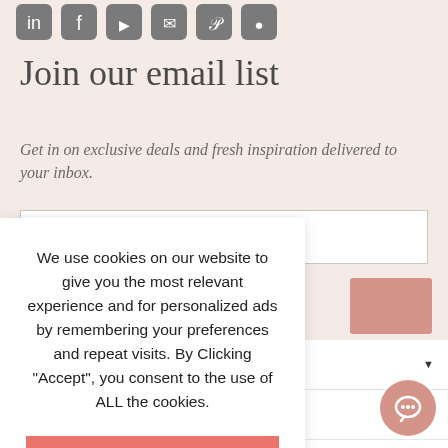[Figure (screenshot): Row of social media icons (LinkedIn, Facebook, YouTube, email, Pinterest, camera/Instagram) in dark gray, rounded square shapes]
Join our email list
Get in on exclusive deals and fresh inspiration delivered to your inbox.
[Figure (screenshot): Email address input field with placeholder text 'Your email address' on white background with gray border]
[Figure (screenshot): Partially visible salmon/pink subscribe button to the right of email input]
[Figure (screenshot): Cookie consent overlay popup with accept button and more info link]
[Figure (screenshot): Chat support button in bottom right corner, circular salmon color with speech bubble icon]